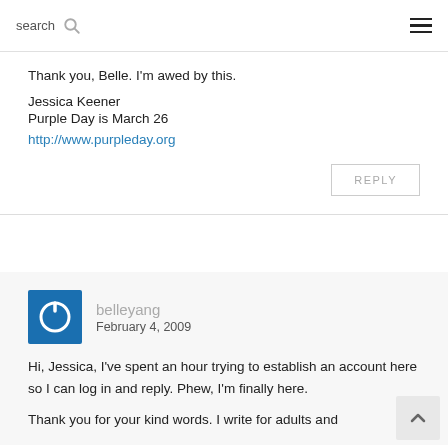search [search icon] [hamburger menu]
Thank you, Belle. I'm awed by this.
Jessica Keener
Purple Day is March 26
http://www.purpleday.org
REPLY
[Figure (logo): Blue square avatar with white power button icon for user belleyang]
belleyang
February 4, 2009
Hi, Jessica, I've spent an hour trying to establish an account here so I can log in and reply. Phew, I'm finally here.
Thank you for your kind words. I write for adults and